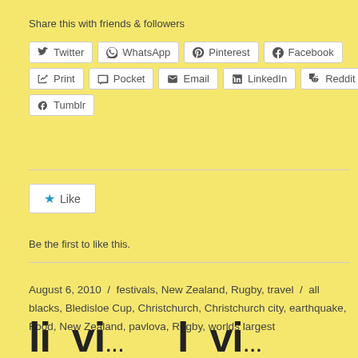Share this with friends & followers
[Figure (infographic): Social sharing buttons: Twitter, WhatsApp, Pinterest, Facebook, Print, Pocket, Email, LinkedIn, Reddit, Tumblr]
[Figure (infographic): Like button with star icon]
Be the first to like this.
August 6, 2010 / festivals, New Zealand, Rugby, travel / all blacks, Bledisloe Cup, Christchurch, Christchurch city, earthquake, Food, New Zealand, pavlova, Rugby, worlds largest
li vi...  l vi...